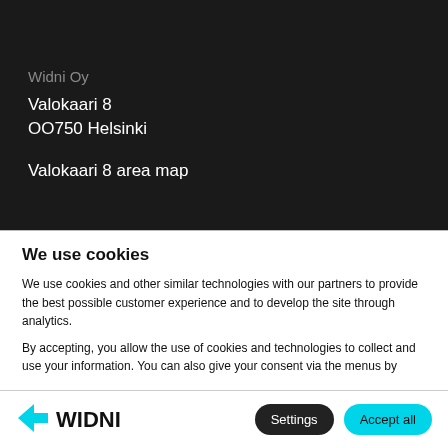Widni Oy
Valokaari 8
OO750 Helsinki
Valokaari 8 area map
We use cookies
We use cookies and other similar technologies with our partners to provide the best possible customer experience and to develop the site through analytics.
By accepting, you allow the use of cookies and technologies to collect and use your information. You can also give your consent via the menus by
[Figure (logo): Widni logo with cyan chevron/arrow icon and bold WIDNI text in black]
Settings
Accept all